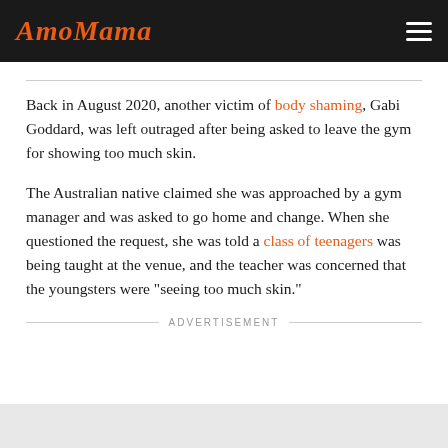AmoMama
Back in August 2020, another victim of body shaming, Gabi Goddard, was left outraged after being asked to leave the gym for showing too much skin.
The Australian native claimed she was approached by a gym manager and was asked to go home and change. When she questioned the request, she was told a class of teenagers was being taught at the venue, and the teacher was concerned that the youngsters were "seeing too much skin."
ADVERTISEMENT